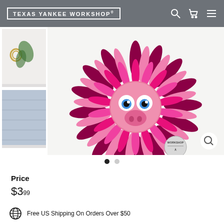TEXAS YANKEE WORKSHOP®
[Figure (photo): Product photo of a decorative pig face designed as a sunflower with pink and black leopard-print petals, blue cartoon eyes, and pink snout. Workshop logo badge visible. Two thumbnail images in sidebar.]
Price
$3.99
Free US Shipping On Orders Over $50